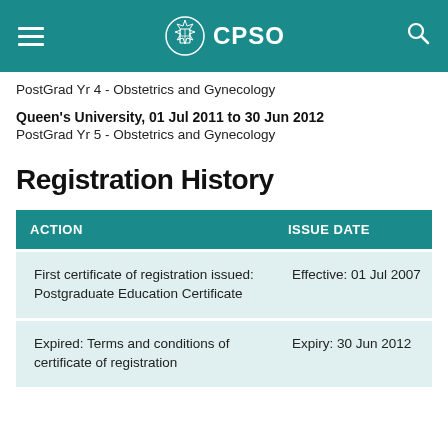CPSO
PostGrad Yr 4 - Obstetrics and Gynecology
Queen's University, 01 Jul 2011 to 30 Jun 2012
PostGrad Yr 5 - Obstetrics and Gynecology
Registration History
| ACTION | ISSUE DATE |
| --- | --- |
| First certificate of registration issued: Postgraduate Education Certificate | Effective: 01 Jul 2007 |
| Expired: Terms and conditions of certificate of registration | Expiry: 30 Jun 2012 |